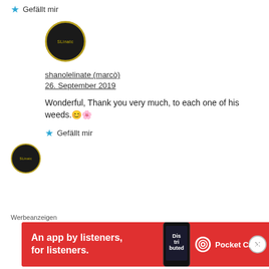★ Gefällt mir
[Figure (illustration): Circular avatar with dark background and golden border, text 'SLinatc' in yellow-green]
shanolelinate (marcò)
26. September 2019
Wonderful, Thank you very much, to each one of his weeds.😊🌸
★ Gefällt mir
[Figure (illustration): Smaller circular avatar with dark background and golden border, text 'SLinatc' in yellow-green]
Werbeanzeigen
[Figure (screenshot): Red advertisement banner for Pocket Casts: 'An app by listeners, for listeners.' with phone image and Pocket Casts logo]